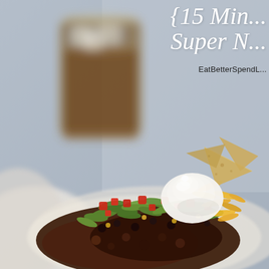[Figure (photo): Food photograph showing a plate of nachos/taco salad topped with sour cream, shredded lettuce, diced tomatoes, black beans, shredded cheese, and tortilla chips, with a blurred mason jar of iced tea in the background on a gray linen surface]
{15 Min... Super N...
EatBetterSpendL...